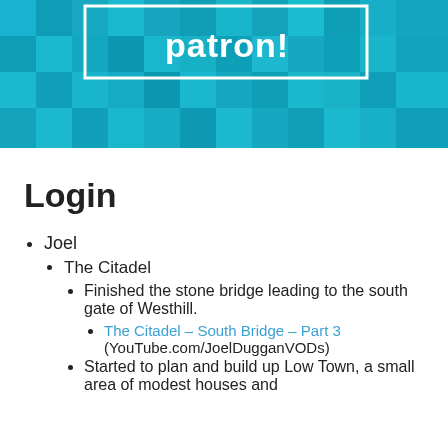[Figure (illustration): Teal/cyan mosaic tile banner background with white bordered box containing the text 'patron!' in bold white]
Login
Joel
The Citadel
Finished the stone bridge leading to the south gate of Westhill.
The Citadel – South Bridge – Part 3 (YouTube.com/JoelDugganVODs)
Started to plan and build up Low Town, a small area of modest houses and